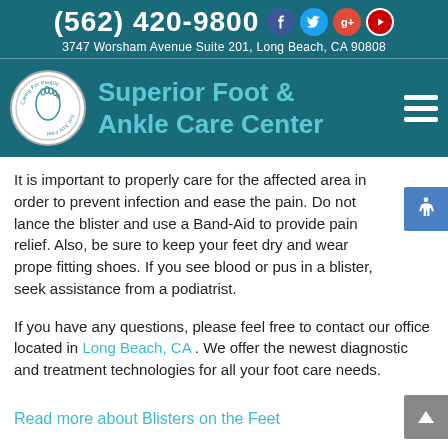(562) 420-9800  3747 Worsham Avenue Suite 201, Long Beach, CA 90808
[Figure (logo): Superior Foot & Ankle Care Center logo with circular badge reading 'Caring For People... Not Just Feet' and the brand name in teal]
It is important to properly care for the affected area in order to prevent infection and ease the pain. Do not lance the blister and use a Band-Aid to provide pain relief. Also, be sure to keep your feet dry and wear proper fitting shoes. If you see blood or pus in a blister, seek assistance from a podiatrist.
If you have any questions, please feel free to contact our office located in Long Beach, CA . We offer the newest diagnostic and treatment technologies for all your foot care needs.
Read more about Blisters on the Feet